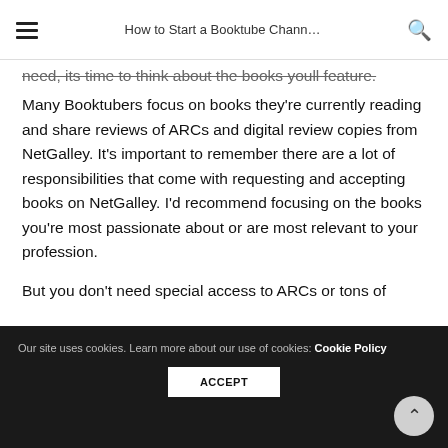How to Start a Booktube Chann…
need, its time to think about the books youll feature.
Many Booktubers focus on books they're currently reading and share reviews of ARCs and digital review copies from NetGalley. It's important to remember there are a lot of responsibilities that come with requesting and accepting books on NetGalley. I'd recommend focusing on the books you're most passionate about or are most relevant to your profession.
But you don't need special access to ARCs or tons of
Our site uses cookies. Learn more about our use of cookies: Cookie Policy
ACCEPT